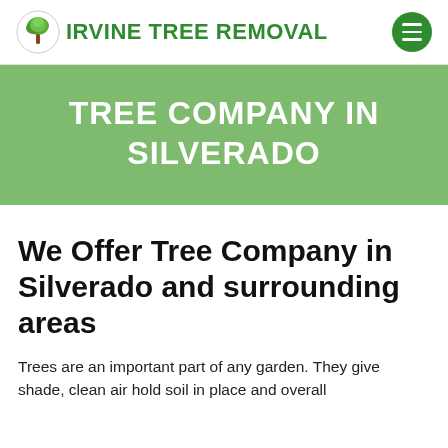IRVINE TREE REMOVAL
TREE COMPANY IN SILVERADO
We Offer Tree Company in Silverado and surrounding areas
Trees are an important part of any garden. They give shade, clean air hold soil in place and overall